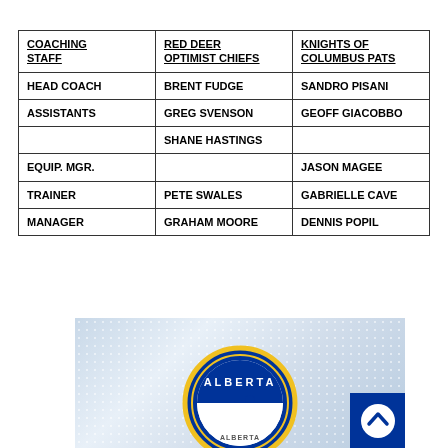| COACHING STAFF | RED DEER OPTIMIST CHIEFS | KNIGHTS OF COLUMBUS PATS |
| --- | --- | --- |
| HEAD COACH | BRENT FUDGE | SANDRO PISANI |
| ASSISTANTS | GREG SVENSON | GEOFF GIACOBBO |
|  | SHANE HASTINGS |  |
| EQUIP. MGR. |  | JASON MAGEE |
| TRAINER | PETE SWALES | GABRIELLE CAVE |
| MANAGER | GRAHAM MOORE | DENNIS POPIL |
[Figure (logo): Alberta hockey logo (circular badge with ALBERTA text and skater silhouette) on a grey dotted background, with a blue button/badge in the bottom right corner]